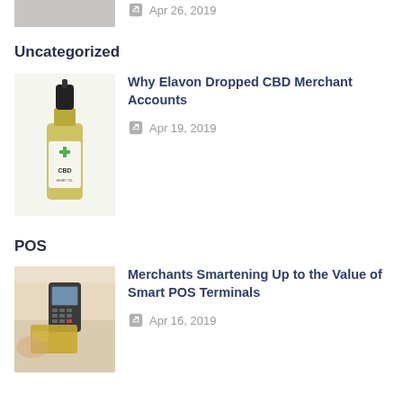[Figure (photo): Partial top image - cropped photo, top of page]
Apr 26, 2019
Uncategorized
[Figure (photo): CBD oil bottle with dropper cap and green cross label]
Why Elavon Dropped CBD Merchant Accounts
Apr 19, 2019
POS
[Figure (photo): Person holding credit card at POS terminal payment device]
Merchants Smartening Up to the Value of Smart POS Terminals
Apr 16, 2019